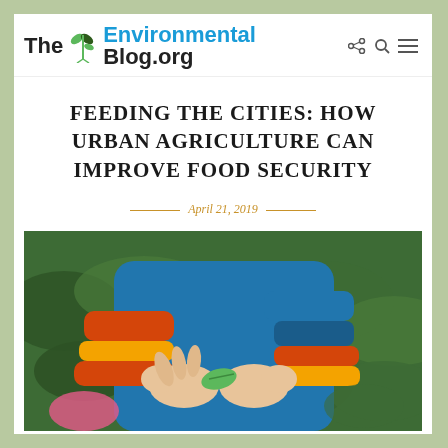[Figure (logo): The Environmental Blog.org logo with green plant icon, teal 'Environmental' text, and dark 'The' and 'Blog.org' text, plus share, search, and menu icons]
FEEDING THE CITIES: HOW URBAN AGRICULTURE CAN IMPROVE FOOD SECURITY
April 21, 2019
[Figure (photo): Close-up photo of a child's hands in a blue and orange striped jacket holding a small green leaf, with green foliage in the background]